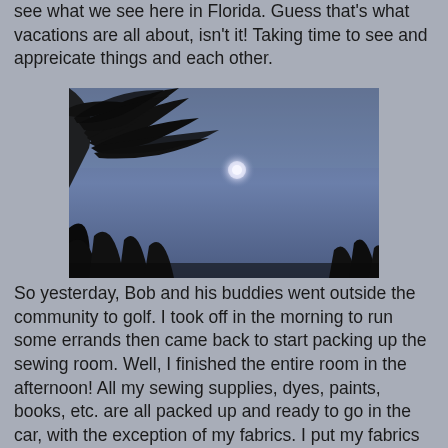see what we see here in Florida. Guess that's what vacations are all about, isn't it! Taking time to see and appreicate things and each other.
[Figure (photo): Nighttime or twilight photo showing a blue-purple sky with silhouettes of palm tree fronds in the upper left and dark tree silhouettes at the bottom. A bright glowing orb (moon) is visible in the center-right of the sky.]
So yesterday, Bob and his buddies went outside the community to golf. I took off in the morning to run some errands then came back to start packing up the sewing room. Well, I finished the entire room in the afternoon! All my sewing supplies, dyes, paints, books, etc. are all packed up and ready to go in the car, with the exception of my fabrics. I put my fabrics in the box our printer is in to protect it and to be able to take more fabric with me!